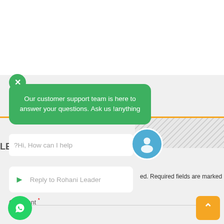Our customer support team is here to answer your questions. Ask us !anything
?Hi, How can I help
Reply to Rohani Leader
ed. Required fields are marked
Comment *
[Figure (screenshot): Customer support chat widget overlay with green close button, green speech bubble with support message, input field, agent avatar, WhatsApp button, and scroll-to-top button]